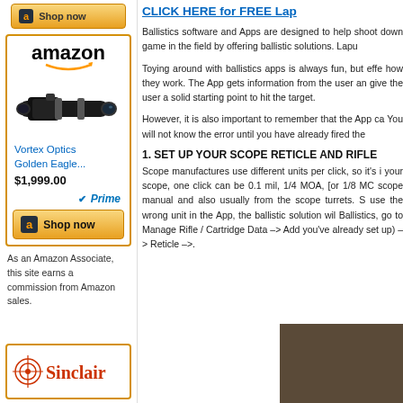[Figure (other): Amazon Shop Now button at top of left sidebar]
[Figure (other): Amazon product advertisement for Vortex Optics Golden Eagle scope priced at $1,999.00 with Prime shipping]
As an Amazon Associate, this site earns a commission from Amazon sales.
[Figure (logo): Sinclair logo at bottom of left sidebar]
CLICK HERE for FREE Lap
Ballistics software and Apps are designed to help shoot down game in the field by offering ballistic solutions. Lapu
Toying around with ballistics apps is always fun, but effe how they work. The App gets information from the user an give the user a solid starting point to hit the target.
However, it is also important to remember that the App ca You will not know the error until you have already fired the
1. SET UP YOUR SCOPE RETICLE AND RIFLE
Scope manufactures use different units per click, so it's i your scope, one click can be 0.1 mil, 1/4 MOA, [or 1/8 MC scope manual and also usually from the scope turrets. S use the wrong unit in the App, the ballistic solution wil Ballistics, go to Manage Rifle / Cartridge Data -> Add you've already set up) -> Reticle ->.
[Figure (photo): Photo showing ballistics equipment including what appears to be a phone/tablet and shooting accessories on a brown surface]